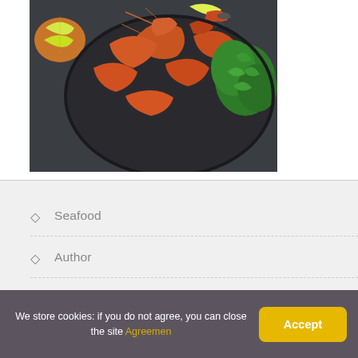[Figure (photo): Overhead photo of a seafood platter with crab claws, shrimp, lemon slices in a bowl, and fresh parsley on a dark plate against a dark slate background.]
Seafood
Author
Privacy Policy
Cookie agreement
We store cookies: if you do not agree, you can close the site Agreemen
Accept